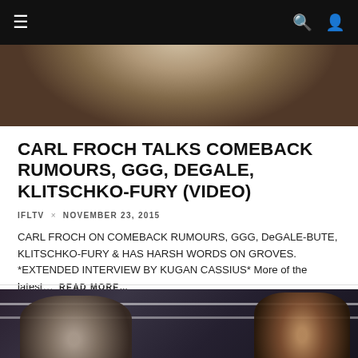≡  🔍 👤
[Figure (photo): Blurred photo of a person (boxer/athlete) from the torso up, beige/brown tones, top hero image]
CARL FROCH TALKS COMEBACK RUMOURS, GGG, DEGALE, KLITSCHKO-FURY (VIDEO)
IFLTV × NOVEMBER 23, 2015
CARL FROCH ON COMEBACK RUMOURS, GGG, DeGALE-BUTE, KLITSCHKO-FURY & HAS HARSH WORDS ON GROVES. *EXTENDED INTERVIEW BY KUGAN CASSIUS* More of the latest…  READ MORE…
IFILMLONDON
LATEST BOXING NEWS
0 COMMENTS
0 MIN READ
[Figure (photo): Photo of two boxers/people at ringside, dark atmosphere with boxing ring ropes visible in background]